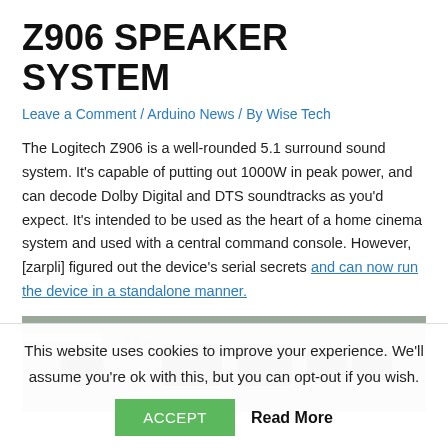Z906 SPEAKER SYSTEM
Leave a Comment / Arduino News / By Wise Tech
The Logitech Z906 is a well-rounded 5.1 surround sound system. It's capable of putting out 1000W in peak power, and can decode Dolby Digital and DTS soundtracks as you'd expect. It's intended to be used as the heart of a home cinema system and used with a central command console. However, [zarpli] figured out the device's serial secrets and can now run the device in a standalone manner.
[Figure (photo): Close-up photo of electronic circuit board or hardware component, dark colored components visible on a light perforated board background]
This website uses cookies to improve your experience. We'll assume you're ok with this, but you can opt-out if you wish.
ACCEPT   Read More